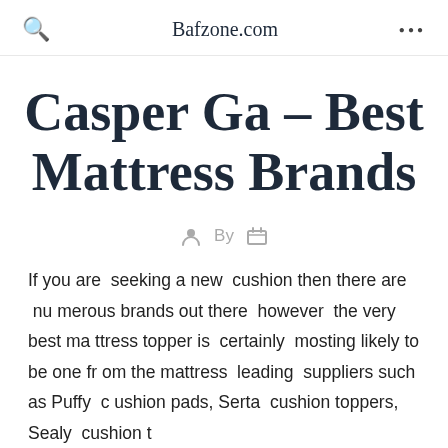Bafzone.com
Casper Ga – Best Mattress Brands
By
If you are seeking a new cushion then there are numerous brands out there however the very best mattress topper is certainly mosting likely to be one from the mattress leading suppliers such as Puffy cushion pads, Serta cushion toppers, Sealy cushion t